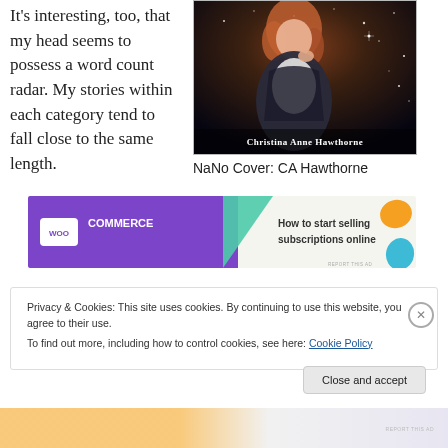It's interesting, too, that my head seems to possess a word count radar. My stories within each category tend to fall close to the same length.
[Figure (photo): Book cover showing a woman with curly red hair against a dark starry background, with author name 'Christina Anne Hawthorne' at the bottom]
NaNo Cover: CA Hawthorne
[Figure (screenshot): WooCommerce advertisement banner: 'How to start selling subscriptions online']
Privacy & Cookies: This site uses cookies. By continuing to use this website, you agree to their use.
To find out more, including how to control cookies, see here: Cookie Policy
Close and accept